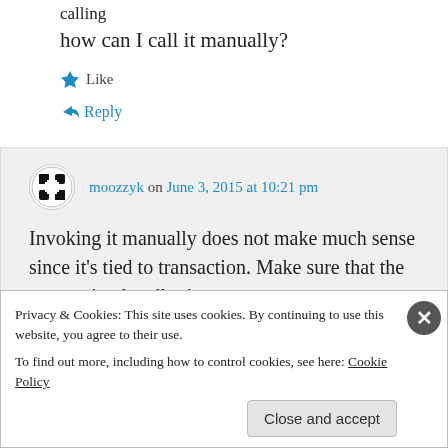calling
how can I call it manually?
Like
↪ Reply
moozzyk on June 3, 2015 at 10:21 pm
Invoking it manually does not make much sense since it's tied to transaction. Make sure that the transaction handler is
Privacy & Cookies: This site uses cookies. By continuing to use this website, you agree to their use.
To find out more, including how to control cookies, see here: Cookie Policy
Close and accept